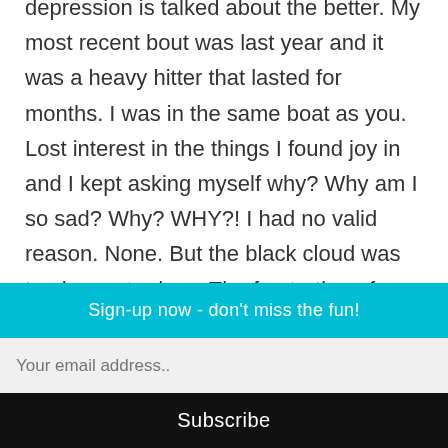depression is talked about the better. My most recent bout was last year and it was a heavy hitter that lasted for months. I was in the same boat as you. Lost interest in the things I found joy in and I kept asking myself why? Why am I so sad? Why? WHY?! I had no valid reason. None. But the black cloud was too heavy to deny. The frustration of wading against the fog can be so overwhelming. Reading your post and the replies makes me feel that I'm not
Sign-up now - don't miss the fun!
Your email address..
Subscribe